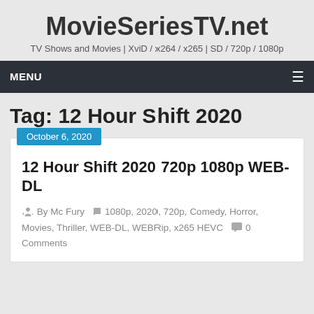MovieSeriesTV.net
TV Shows and Movies | XviD / x264 / x265 | SD / 720p / 1080p
MENU
Tag: 12 Hour Shift 2020
October 6, 2020
12 Hour Shift 2020 720p 1080p WEB-DL
By Mc Fury  1080p, 2020, 720p, Comedy, Horror, Movies, Thriller, WEB-DL, WEBRip, x265 HEVC  0 Comments